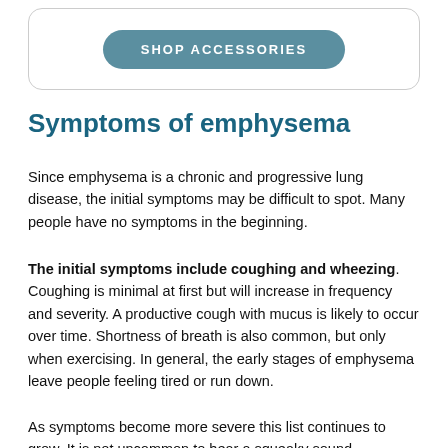[Figure (other): A rounded button labeled SHOP ACCESSORIES on a teal/steel-blue background, inside a rounded rectangle border]
Symptoms of emphysema
Since emphysema is a chronic and progressive lung disease, the initial symptoms may be difficult to spot. Many people have no symptoms in the beginning.
The initial symptoms include coughing and wheezing. Coughing is minimal at first but will increase in frequency and severity. A productive cough with mucus is likely to occur over time. Shortness of breath is also common, but only when exercising. In general, the early stages of emphysema leave people feeling tired or run down.
As symptoms become more severe this list continues to grow. It is not uncommon to hear a squeaky sound